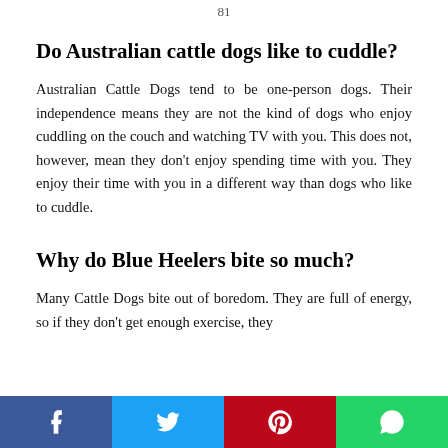81
Do Australian cattle dogs like to cuddle?
Australian Cattle Dogs tend to be one-person dogs. Their independence means they are not the kind of dogs who enjoy cuddling on the couch and watching TV with you. This does not, however, mean they don't enjoy spending time with you. They enjoy their time with you in a different way than dogs who like to cuddle.
Why do Blue Heelers bite so much?
Many Cattle Dogs bite out of boredom. They are full of energy, so if they don't get enough exercise, they